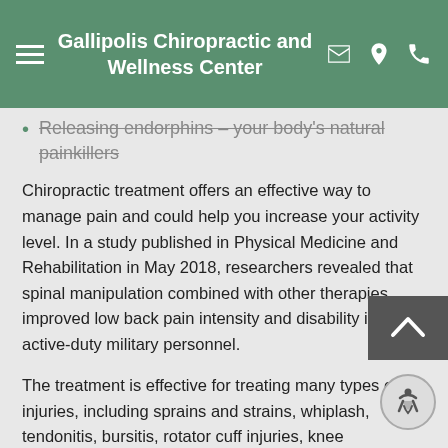Gallipolis Chiropractic and Wellness Center
Releasing endorphins – your body's natural painkillers
Chiropractic treatment offers an effective way to manage pain and could help you increase your activity level. In a study published in Physical Medicine and Rehabilitation in May 2018, researchers revealed that spinal manipulation combined with other therapies improved low back pain intensity and disability in active-duty military personnel.
The treatment is effective for treating many types of injuries, including sprains and strains, whiplash, tendonitis, bursitis, rotator cuff injuries, knee conditions, concussions, herniated discs, shin splints, and dislocations.
Chiropractic treatment will ease your pain and get you moving again. Contact us to schedule a convenient